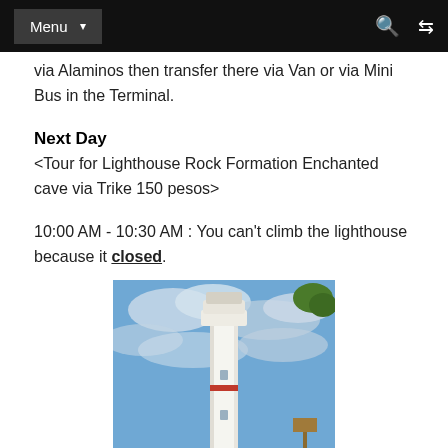Menu
via Alaminos then transfer there via Van or via Mini Bus in the Terminal.
Next Day
<Tour for Lighthouse Rock Formation Enchanted cave via Trike 150 pesos>
10:00 AM - 10:30 AM : You can't climb the lighthouse because it closed.
[Figure (photo): A tall white lighthouse tower against a partly cloudy blue sky, with a tree visible in the upper right corner.]